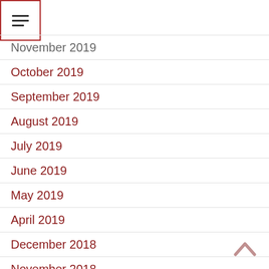[Figure (other): Menu hamburger icon inside a red-bordered square box]
November 2019
October 2019
September 2019
August 2019
July 2019
June 2019
May 2019
April 2019
December 2018
November 2018
October 2018
September 2018
April 2018
[Figure (other): Back to top chevron arrow icon in muted rose/pink color]